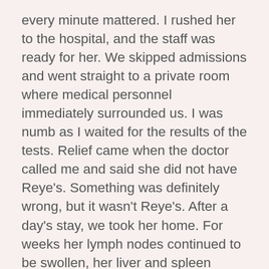every minute mattered. I rushed her to the hospital, and the staff was ready for her. We skipped admissions and went straight to a private room where medical personnel immediately surrounded us. I was numb as I waited for the results of the tests. Relief came when the doctor called me and said she did not have Reye's. Something was definitely wrong, but it wasn't Reye's. After a day's stay, we took her home. For weeks her lymph nodes continued to be swollen, her liver and spleen enlarged, and a test called an erythrocyte sedimentation rate (sed rate), revealed there was still something going on in her body. The pediatrician came to believe she might have lymphoma or leukemia. Those were two terrible words that flung me into tears. He referred us to a pediatric hematologist to do a bone marrow biopsy, and a surgeon to do a lymph node biopsy. The two doctors arranged